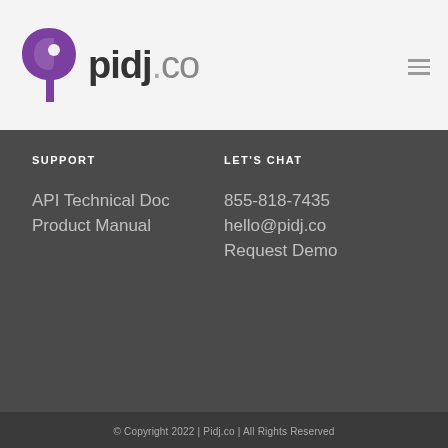[Figure (logo): pidj.co logo with purple bird icon and stylized text]
SUPPORT
LET'S CHAT
API Technical Doc
Product Manual
855-818-7435
hello@pidj.co
Request Demo
© Copyright 2022 | Pidj.co | All Rights Reserved